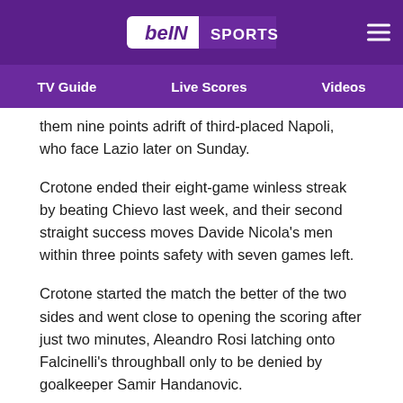beIN SPORTS
TV Guide   Live Scores   Videos
them nine points adrift of third-placed Napoli, who face Lazio later on Sunday.
Crotone ended their eight-game winless streak by beating Chievo last week, and their second straight success moves Davide Nicola's men within three points safety with seven games left.
Crotone started the match the better of the two sides and went close to opening the scoring after just two minutes, Aleandro Rosi latching onto Falcinelli's throughball only to be denied by goalkeeper Samir Handanovic.
The home side continued to impress early on and they